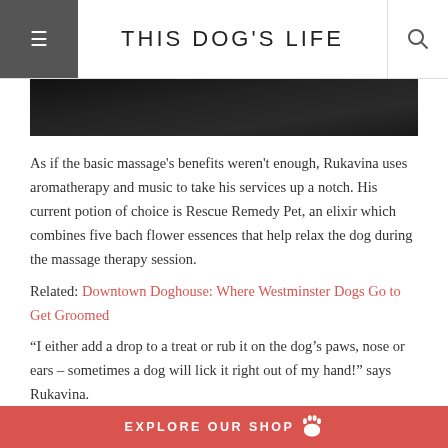THIS DOG'S LIFE
[Figure (photo): Partial cropped photo of a dark-colored dog, mostly black background]
As if the basic massage's benefits weren't enough, Rukavina uses aromatherapy and music to take his services up a notch. His current potion of choice is Rescue Remedy Pet, an elixir which combines five bach flower essences that help relax the dog during the massage therapy session.
Related: Downtown Doghouse: Where Westminster Dogs Go to Get Groomed
“I either add a drop to a treat or rub it on the dog’s paws, nose or ears – sometimes a dog will lick it right out of my hand!” says Rukavina.
Along with aromatherapy, he also uses iCalmDog, a
EXPLORE OUR SHOP